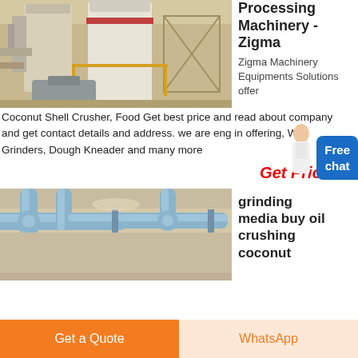[Figure (photo): Industrial grinding/processing machinery with silos and metal structures, yellow railings visible]
Processing Machinery - Zigma
Zigma Machinery Equipments Solutions offering Coconut Shell Crusher, Food Get best price and read about company and get contact details and address. we are engaged in offering, Wet Grinders, Dough Kneader and many more
Get Price
[Figure (photo): Industrial piping system with blue-painted pipes in a factory interior]
grinding media buy oil crushing coconut
Get a Quote
WhatsApp